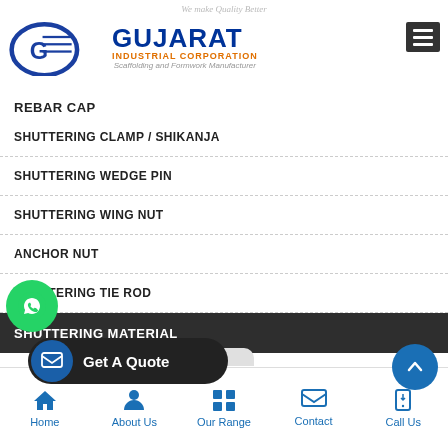We make Quality Better — Gujarat Industrial Corporation — Scaffolding and Formwork Manufacturer
REBAR CAP
SHUTTERING CLAMP / SHIKANJA
SHUTTERING WEDGE PIN
SHUTTERING WING NUT
ANCHOR NUT
SHUTTERING TIE ROD
SHUTTERING MATERIAL
SHUTTERING PLATE
SHUTTERING STOPPER
[Figure (other): WhatsApp floating button]
[Figure (other): Get A Quote floating button]
[Figure (other): Scroll to top floating button]
Home | About Us | Our Range | Contact | Call Us